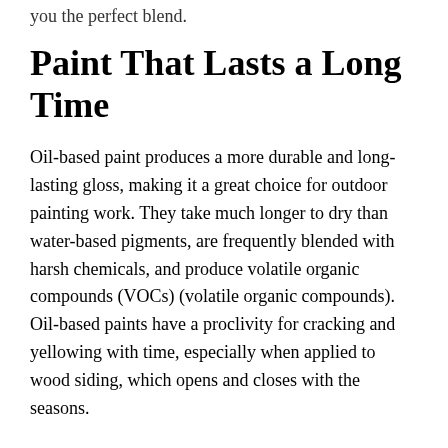you the perfect blend.
Paint That Lasts a Long Time
Oil-based paint produces a more durable and long-lasting gloss, making it a great choice for outdoor painting work. They take much longer to dry than water-based pigments, are frequently blended with harsh chemicals, and produce volatile organic compounds (VOCs) (volatile organic compounds). Oil-based paints have a proclivity for cracking and yellowing with time, especially when applied to wood siding, which opens and closes with the seasons.
For many years, oil-based paints were the preferred choice for exterior projects, but recent technological breakthroughs in water-based paints have made them the superior choice. Acrylic paint is perhaps the most durable of the group. It’s long-lasting, versatile, and resistant to